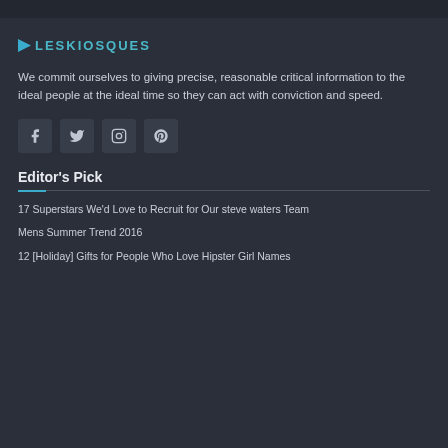LESKIOSQUES
We commit ourselves to giving precise, reasonable critical information to the ideal people at the ideal time so they can act with conviction and speed.
[Figure (infographic): Row of four social media icon buttons: Facebook, Twitter, Instagram, Pinterest]
Editor's Pick
17 Superstars We'd Love to Recruit for Our steve waters Team
Mens Summer Trend 2016
12 [Holiday] Gifts for People Who Love Hipster Girl Names